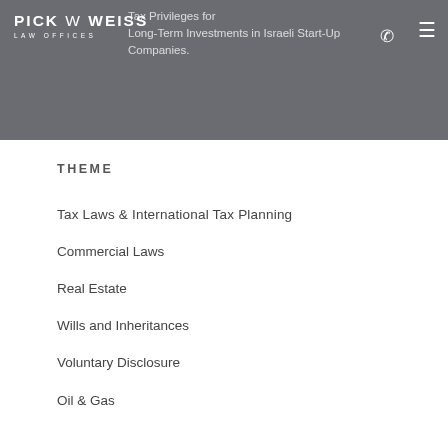PICK W WEISS LAW OFFICES | Tax Privileges for Long-Term Investments in Israeli Start-Up Companies.
THEME
Tax Laws & International Tax Planning
Commercial Laws
Real Estate
Wills and Inheritances
Voluntary Disclosure
Oil & Gas